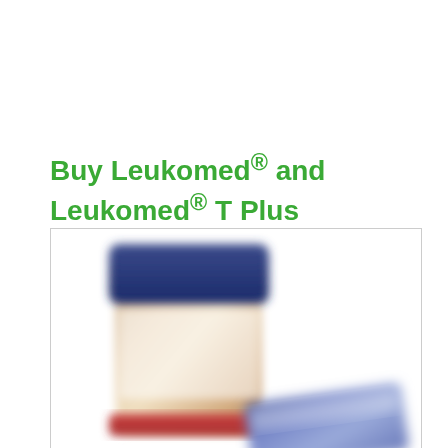Buy Leukomed® and Leukomed® T Plus Online
[Figure (photo): Blurred product photo showing a Leukomed canister/dispenser with dark blue lid and a red stripe at the bottom, and a smaller blue product packet in the lower right corner, displayed against a white background within a bordered box.]